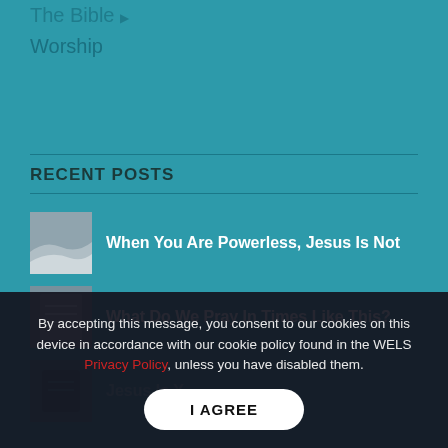The Bible
Worship
RECENT POSTS
When You Are Powerless, Jesus Is Not
What Do We Pray In Times Like This?
Jesus Is Y... (partially visible)
Jesus Is the Sufferi... (partially visible)
By accepting this message, you consent to our cookies on this device in accordance with our cookie policy found in the WELS Privacy Policy, unless you have disabled them.
I AGREE